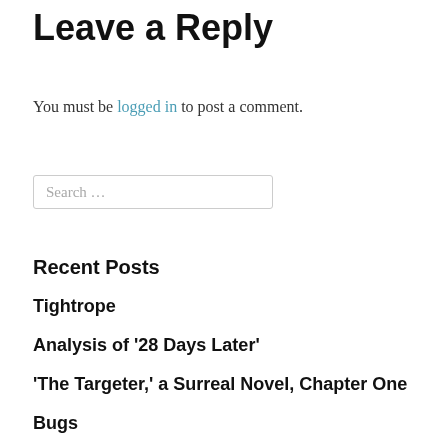Leave a Reply
You must be logged in to post a comment.
Search …
Recent Posts
Tightrope
Analysis of '28 Days Later'
'The Targeter,' a Surreal Novel, Chapter One
Bugs